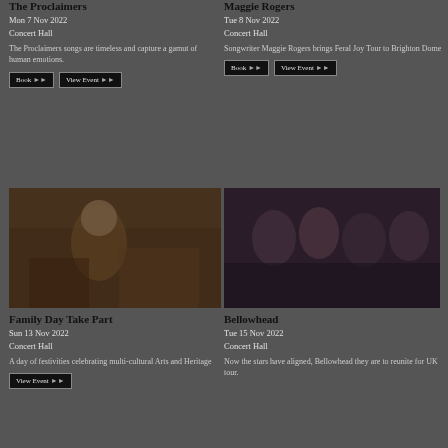The Proclaimers
Mon 7 Nov 2022
Concert Hall
The Proclaimers songs are timeless and capture a gamut of human emotions.
Maggie Rogers
Tue 8 Nov 2022
Concert Hall
Songwriter Maggie Rogers brings Feral Joy Tour to Brighton Dome
[Figure (photo): Children at a festive arts and heritage event, appearing to engage in crafts activities]
Family Day Take Part
Sun 13 Nov 2022
Concert Hall
A day of festivities celebrating multi-cultural Arts and Heritage
[Figure (photo): Group of performers or musicians posed together, dark atmospheric photo]
Bellowhead
Tue 15 Nov 2022
Concert Hall
Now the stars have aligned, Bellowhead they are to reunite for UK tour.